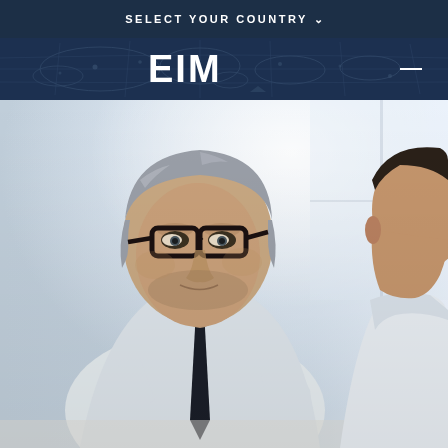SELECT YOUR COUNTRY ∨
[Figure (logo): EIM company logo in white text on dark navy background with faint world map]
[Figure (photo): Two businessmen in white shirts leaning over a table reviewing documents. The man on the left has grey hair and glasses and a dark tie. The man on the right is younger and partially visible on the right edge.]